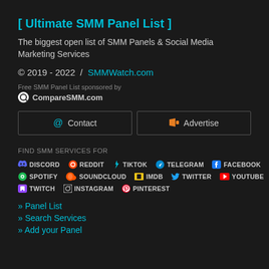[ Ultimate SMM Panel List ]
The biggest open list of SMM Panels & Social Media Marketing Services
© 2019 - 2022  /  SMMWatch.com
Free SMM Panel List sponsored by
CompareSMM.com
@ Contact  |  Advertise
FIND SMM SERVICES FOR
DISCORD  REDDIT  TIKTOK  TELEGRAM  FACEBOOK  SPOTIFY  SOUNDCLOUD  IMDB  TWITTER  YOUTUBE  TWITCH  INSTAGRAM  PINTEREST
» Panel List
» Search Services
» Add your Panel